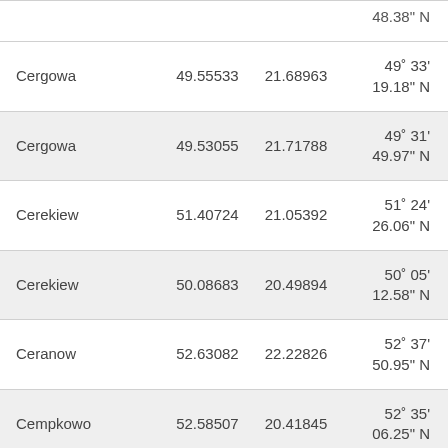| Name | Lat (dec) | Lon (dec) | DMS Lat |
| --- | --- | --- | --- |
|  |  |  | 49˚ 33' 19.18" N (partial top) |
| Cergowa | 49.55533 | 21.68963 | 49˚ 33'
19.18" N |
| Cergowa | 49.53055 | 21.71788 | 49˚ 31'
49.97" N |
| Cerekiew | 51.40724 | 21.05392 | 51˚ 24'
26.06" N |
| Cerekiew | 50.08683 | 20.49894 | 50˚ 05'
12.58" N |
| Ceranow | 52.63082 | 22.22826 | 52˚ 37'
50.95" N |
| Cempkowo | 52.58507 | 20.41845 | 52˚ 35'
06.25" N |